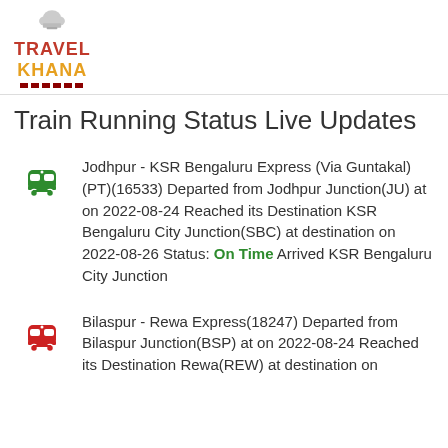[Figure (logo): TravelKhana logo with chef hat icon, TRAVEL in red and KHANA in orange/gold with decorative underline]
Train Running Status Live Updates
Jodhpur - KSR Bengaluru Express (Via Guntakal) (PT)(16533) Departed from Jodhpur Junction(JU) at on 2022-08-24 Reached its Destination KSR Bengaluru City Junction(SBC) at destination on 2022-08-26 Status: On Time Arrived KSR Bengaluru City Junction
Bilaspur - Rewa Express(18247) Departed from Bilaspur Junction(BSP) at on 2022-08-24 Reached its Destination Rewa(REW) at destination on...